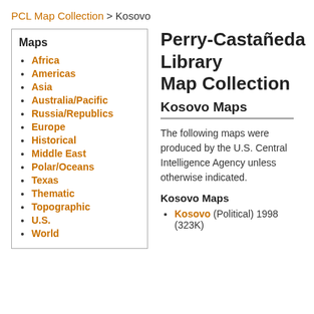PCL Map Collection > Kosovo
Maps
Africa
Americas
Asia
Australia/Pacific
Russia/Republics
Europe
Historical
Middle East
Polar/Oceans
Texas
Thematic
Topographic
U.S.
World
Perry-Castañeda Library Map Collection
Kosovo Maps
The following maps were produced by the U.S. Central Intelligence Agency unless otherwise indicated.
Kosovo Maps
Kosovo (Political) 1998 (323K)